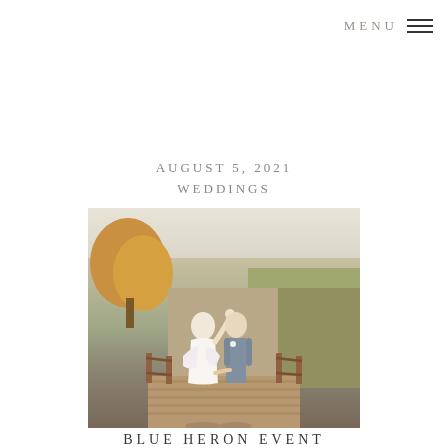MENU
AUGUST 5, 2021
WEDDINGS
[Figure (photo): A bride and groom walking hand-in-hand on a wooden bridge in an autumn outdoor setting. The bride has her arm raised in celebration. Autumn trees and meadow are visible in the background.]
BLUE HERON EVENT